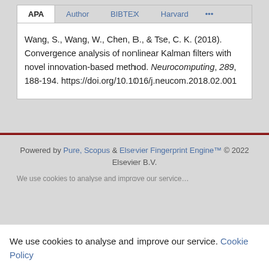APA | Author | BIBTEX | Harvard | ...
Wang, S., Wang, W., Chen, B., & Tse, C. K. (2018). Convergence analysis of nonlinear Kalman filters with novel innovation-based method. Neurocomputing, 289, 188-194. https://doi.org/10.1016/j.neucom.2018.02.001
Powered by Pure, Scopus & Elsevier Fingerprint Engine™ © 2022 Elsevier B.V.
We use cookies to analyse and improve our service. Cookie Policy